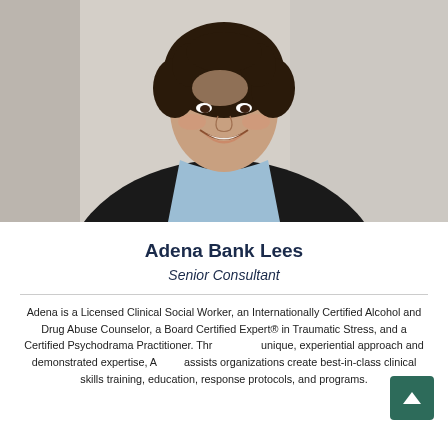[Figure (photo): Professional headshot of Adena Bank Lees, a woman with curly dark hair, smiling, wearing a dark blazer over a light blue top, photographed against a light background.]
Adena Bank Lees
Senior Consultant
Adena is a Licensed Clinical Social Worker, an Internationally Certified Alcohol and Drug Abuse Counselor, a Board Certified Expert® in Traumatic Stress, and a Certified Psychodrama Practitioner. Through her unique, experiential approach and demonstrated expertise, Adena assists organizations create best-in-class clinical skills training, education, response protocols, and programs.